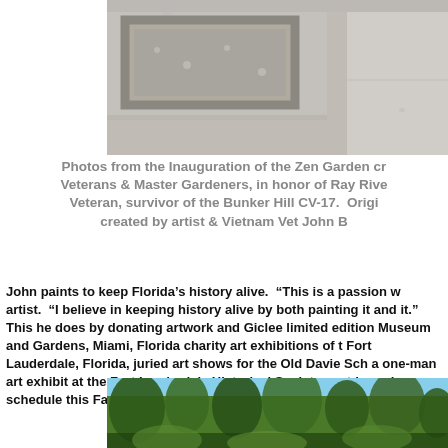[Figure (photo): Top portion of a zen garden photo showing stone border, gravel, and sidewalk area]
Photos from the Inauguration of the Zen Garden cr Veterans & Master Gardeners, in honor of Ray Rive Veteran, survivor of the Bunker Hill CV-17. Origi created by artist & Vietnam Vet John B
John paints to keep Florida’s history alive. “This is a passion w artist. “I believe in keeping history alive by both painting it and it.” This he does by donating artwork and Giclee limited edition Museum and Gardens, Miami, Florida charity art exhibitions of t Fort Lauderdale, Florida, juried art shows for the Old Davie Sch a one-man art exhibit at the Fort Lauderdale Historical Society. outdoor show schedule this Fall.
[Figure (photo): Bottom portion showing a lush green garden with trees and foliage under blue sky]